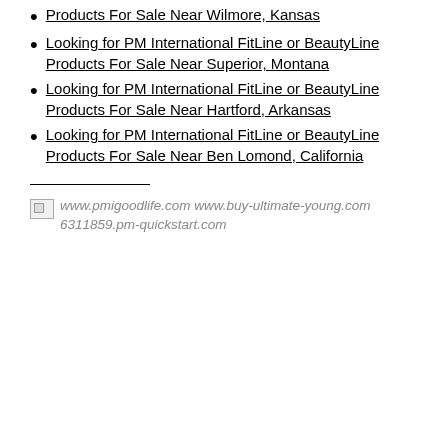Looking for PM International FitLine or BeautyLine Products For Sale Near Wilmore, Kansas
Looking for PM International FitLine or BeautyLine Products For Sale Near Superior, Montana
Looking for PM International FitLine or BeautyLine Products For Sale Near Hartford, Arkansas
Looking for PM International FitLine or BeautyLine Products For Sale Near Ben Lomond, California
www.pmigoodlife.com www.buy-ultimate-young.com 6311859.pm-quickstart.com